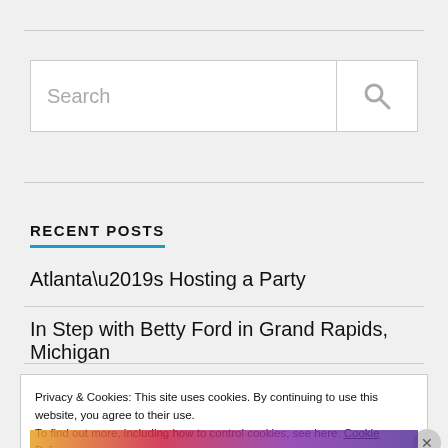[Figure (other): Search input box with magnifying glass icon on the right]
RECENT POSTS
Atlanta’s Hosting a Party
In Step with Betty Ford in Grand Rapids, Michigan
Privacy & Cookies: This site uses cookies. By continuing to use this website, you agree to their use.
To find out more, including how to control cookies, see here: Cookie Policy
Close and accept